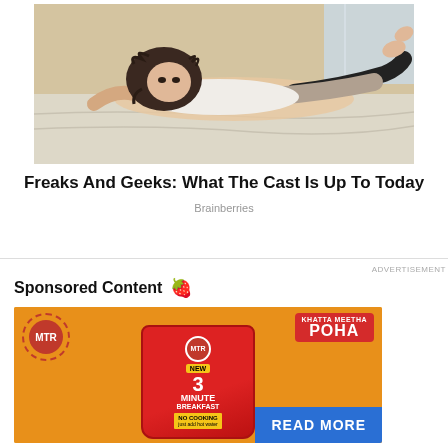[Figure (photo): Woman lying on a bed in a white tank top and black shorts, photoshoot style image]
Freaks And Geeks: What The Cast Is Up To Today
Brainberries
ADVERTISEMENT
Sponsored Content
[Figure (photo): MTR Khatta Meetha Poha advertisement showing MTR branded red packet with 'NEW 3 MINUTE BREAKFAST' and 'NO COOKING just add hot water' text. READ MORE button in blue.]